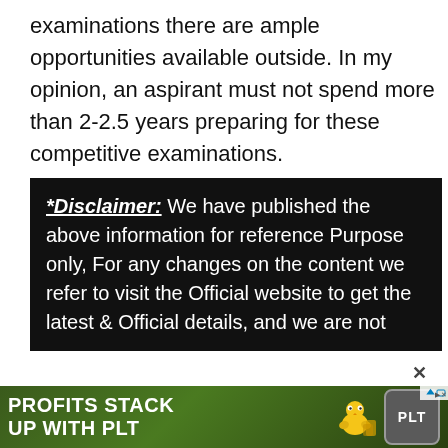examinations there are ample opportunities available outside. In my opinion, an aspirant must not spend more than 2-2.5 years preparing for these competitive examinations.
*Disclaimer: We have published the above information for reference Purpose only, For any changes on the content we refer to visit the Official website to get the latest & Official details, and we are not
[Figure (infographic): Advertisement banner: 'PROFITS STACK UP WITH PLT' with chick and coin stack imagery on dark green background, PLT logo.]